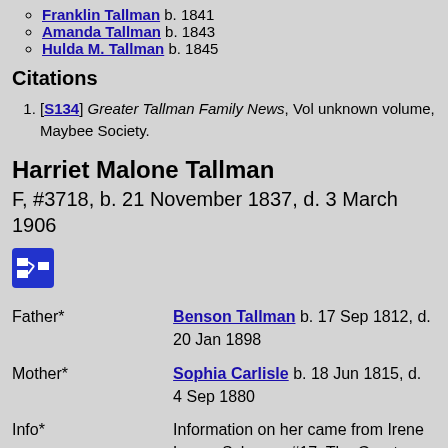Franklin Tallman b. 1841
Amanda Tallman b. 1843
Hulda M. Tallman b. 1845
Citations
[S134] Greater Tallman Family News, Vol unknown volume, Maybee Society.
Harriet Malone Tallman
F, #3718, b. 21 November 1837, d. 3 March 1906
[Figure (other): Pedigree/family tree icon button (blue square with diagram symbol)]
| Field | Value |
| --- | --- |
| Father* | Benson Tallman b. 17 Sep 1812, d. 20 Jan 1898 |
| Mother* | Sophia Carlisle b. 18 Jun 1815, d. 4 Sep 1880 |
| Info* | Information on her came from Irene Leona Schrope, #17; The Greater Tallman Family Newsletter. to early Maybee Society |